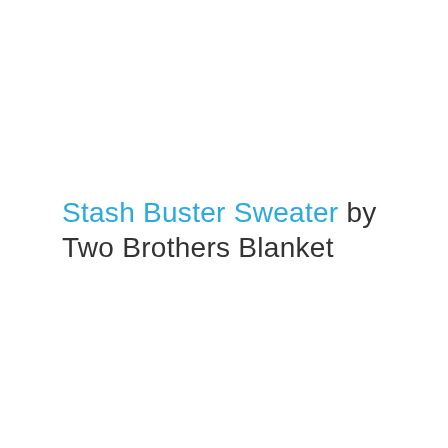Stash Buster Sweater by Two Brothers Blanket